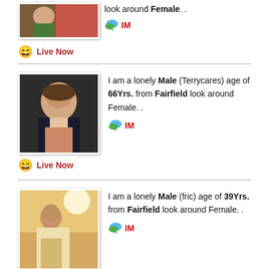look around Female. .
IM
Live Now
I am a lonely Male (Terrycares) age of 66Yrs. from Fairfield look around Female. .
IM
Live Now
I am a lonely Male (fric) age of 39Yrs. from Fairfield look around Female. .
IM
Live Now